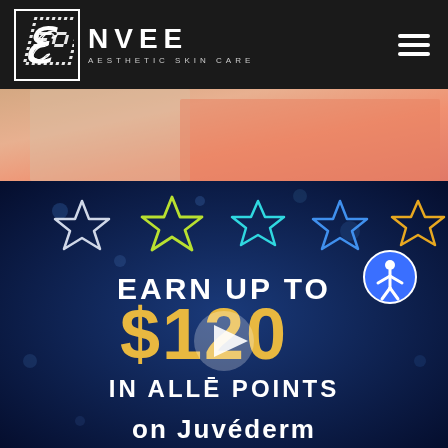ENVEE AESTHETIC SKIN CARE
[Figure (photo): Partial view of a person in a peach/coral colored top, upper body portion visible, cropped screenshot area]
[Figure (screenshot): Video thumbnail on dark blue background with bokeh sparkle effects. Five star outlines in different neon colors (white, yellow-green, cyan, blue, gold). Text reads: EARN UP TO $120 IN ALLĒ POINTS on Juvederm. Play button triangle in center. Accessibility icon (blue circle with person symbol) in upper right.]